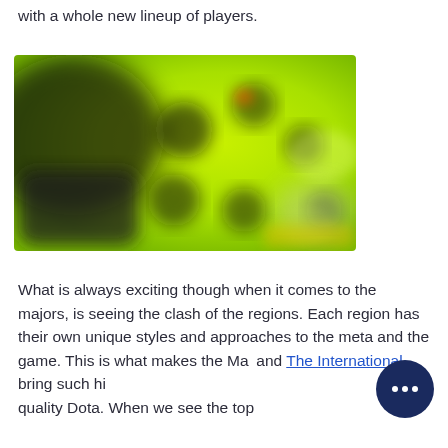with a whole new lineup of players.
[Figure (photo): Blurred yellow-green gaming or esports related image with dark circular elements on a bright neon green background]
What is always exciting though when it comes to the majors, is seeing the clash of the regions. Each region has their own unique styles and approaches to the meta and the game. This is what makes the Ma... and The International bring such high quality Dota. When we see the top...